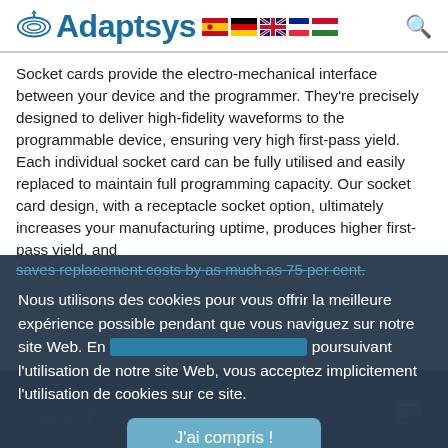[Figure (logo): Adaptsys logo with antenna icon and language flags (Spanish, German, English, French, Hungarian) and search icon]
Socket cards provide the electro-mechanical interface between your device and the programmer. They’re precisely designed to deliver high-fidelity waveforms to the programmable device, ensuring very high first-pass yield. Each individual socket card can be fully utilised and easily replaced to maintain full programming capacity. Our socket card design, with a receptacle socket option, ultimately increases your manufacturing uptime, produces higher first-pass yield, and saves replacement costs by as much as 75 per cent.
Nous utilisons des cookies pour vous offrir la meilleure expérience possible pendant que vous naviguez sur notre site Web. En poursuivant l’utilisation de notre site Web, vous acceptez implicitement l’utilisation de cookies sur ce site.
J’ai compris !
Share This